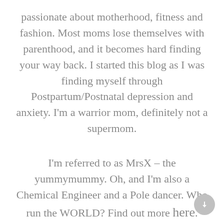passionate about motherhood, fitness and fashion. Most moms lose themselves with parenthood, and it becomes hard finding your way back. I started this blog as I was finding myself through Postpartum/Postnatal depression and anxiety. I'm a warrior mom, definitely not a supermom.
I'm referred to as MrsX – the yummymummy. Oh, and I'm also a Chemical Engineer and a Pole dancer. Who run the WORLD? Find out more here.